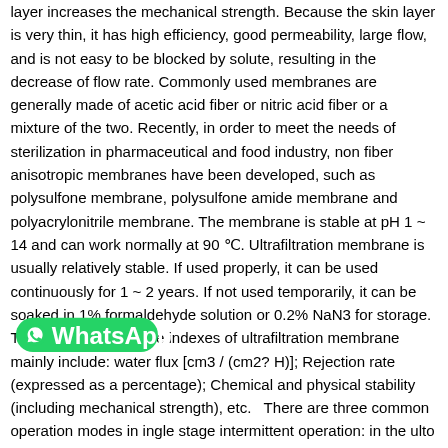layer increases the mechanical strength. Because the skin layer is very thin, it has high efficiency, good permeability, large flow, and is not easy to be blocked by solute, resulting in the decrease of flow rate. Commonly used membranes are generally made of acetic acid fiber or nitric acid fiber or a mixture of the two. Recently, in order to meet the needs of sterilization in pharmaceutical and food industry, non fiber anisotropic membranes have been developed, such as polysulfone membrane, polysulfone amide membrane and polyacrylonitrile membrane. The membrane is stable at pH 1 ~ 14 and can work normally at 90 ℃. Ultrafiltration membrane is usually relatively stable. If used properly, it can be used continuously for 1 ~ 2 years. If not used temporarily, it can be soaked in 1% formaldehyde solution or 0.2% NaN3 for storage. The basic performance indexes of ultrafiltration membrane mainly include: water flux [cm3 / (cm2? H)]; Rejection rate (expressed as a percentage); Chemical and physical stability (including mechanical strength), etc.   There are three common operation modes in ... ngle stage intermittent operation: in the ul... ...to reduce the influence of concentration polarization, the membrane module must maintain a high feed liquid flow rate.
[Figure (logo): WhatsApp logo button overlay — green rounded rectangle with WhatsApp icon and text 'WhatsApp']